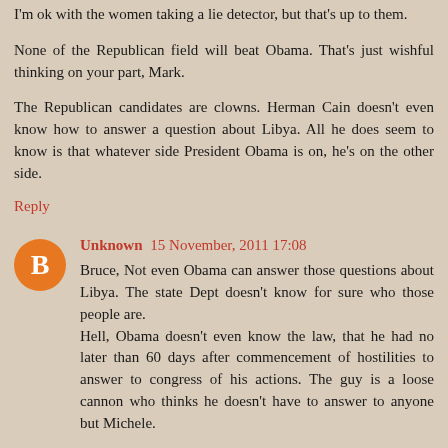I'm ok with the women taking a lie detector, but that's up to them.
None of the Republican field will beat Obama. That's just wishful thinking on your part, Mark.
The Republican candidates are clowns. Herman Cain doesn't even know how to answer a question about Libya. All he does seem to know is that whatever side President Obama is on, he's on the other side.
Reply
Unknown 15 November, 2011 17:08
Bruce, Not even Obama can answer those questions about Libya. The state Dept doesn't know for sure who those people are.
Hell, Obama doesn't even know the law, that he had no later than 60 days after commencement of hostilities to answer to congress of his actions. The guy is a loose cannon who thinks he doesn't have to answer to anyone but Michele.